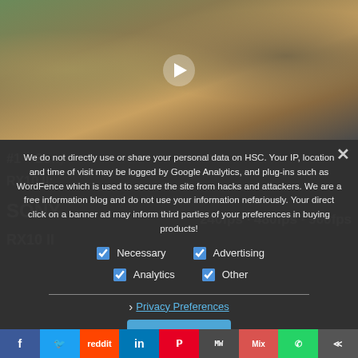[Figure (photo): Two people walking on a forest path with autumn leaves, video still with play button overlay]
We do not directly use or share your personal data on HSC. Your IP, location and time of visit may be logged by Google Analytics, and plug-ins such as WordFence which is used to secure the site from hacks and attackers. We are a free information blog and do not use your information nefariously. Your direct click on a banner ad may inform third parties of your preferences in buying products!
Necessary
Advertising
Analytics
Other
› Privacy Preferences
I Agree
f  Twitter  reddit  in  Pinterest  MW  Mix  WhatsApp  Share